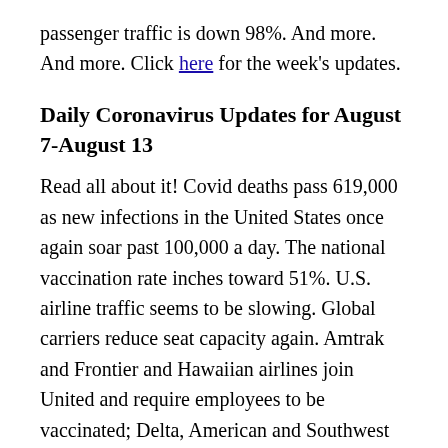passenger traffic is down 98%. And more. And more. Click here for the week's updates.
Daily Coronavirus Updates for August 7-August 13
Read all about it! Covid deaths pass 619,000 as new infections in the United States once again soar past 100,000 a day. The national vaccination rate inches toward 51%. U.S. airline traffic seems to be slowing. Global carriers reduce seat capacity again. Amtrak and Frontier and Hawaiian airlines join United and require employees to be vaccinated; Delta, American and Southwest demur. Puerto Rico lodgings will require proof of vaccination. Federal court halts